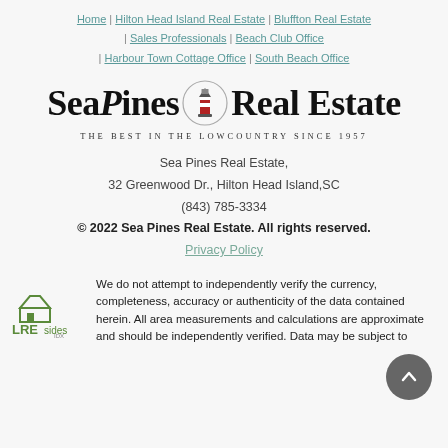Home | Hilton Head Island Real Estate | Bluffton Real Estate | Sales Professionals | Beach Club Office | Harbour Town Cottage Office | South Beach Office
[Figure (logo): Sea Pines Real Estate logo with lighthouse icon and tagline THE BEST IN THE LOWCOUNTRY SINCE 1957]
Sea Pines Real Estate,
32 Greenwood Dr., Hilton Head Island,SC
(843) 785-3334
© 2022 Sea Pines Real Estate. All rights reserved.
Privacy Policy
[Figure (logo): LREsides logo - green house icon with LRE text]
We do not attempt to independently verify the currency, completeness, accuracy or authenticity of the data contained herein. All area measurements and calculations are approximate and should be independently verified. Data may be subject to